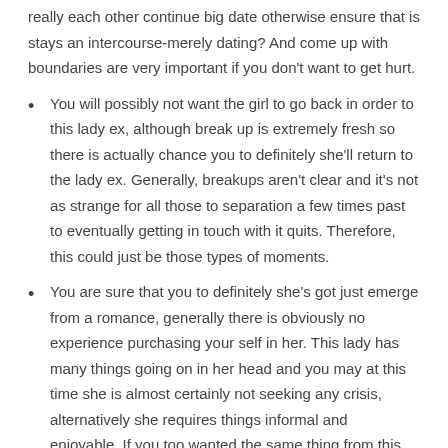really each other continue big date otherwise ensure that is stays an intercourse-merely dating? And come up with boundaries are very important if you don't want to get hurt.
You will possibly not want the girl to go back in order to this lady ex, although break up is extremely fresh so there is actually chance you to definitely she'll return to the lady ex. Generally, breakups aren't clear and it's not as strange for all those to separation a few times past to eventually getting in touch with it quits. Therefore, this could just be those types of moments.
You are sure that you to definitely she's got just emerge from a romance, generally there is obviously no experience purchasing your self in her. This lady has many things going on in her head and you may at this time she is almost certainly not seeking any crisis, alternatively she requires things informal and enjoyable. If you too wanted the same thing from this matchmaking then, go ahead. If not upcoming, don't enter they.